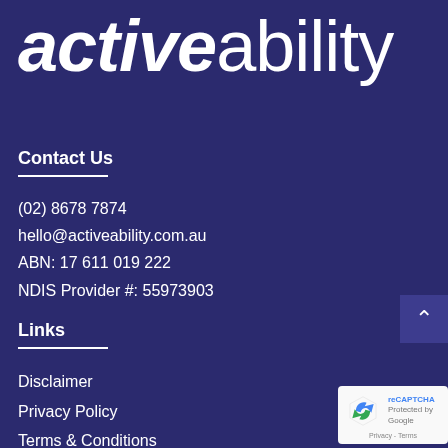activeability
Contact Us
(02) 8678 7874
hello@activeability.com.au
ABN: 17 611 019 222
NDIS Provider #: 55973903
Links
Disclaimer
Privacy Policy
Terms & Conditions
FAQs
[Figure (logo): reCAPTCHA badge with Google logo and Privacy - Terms text]